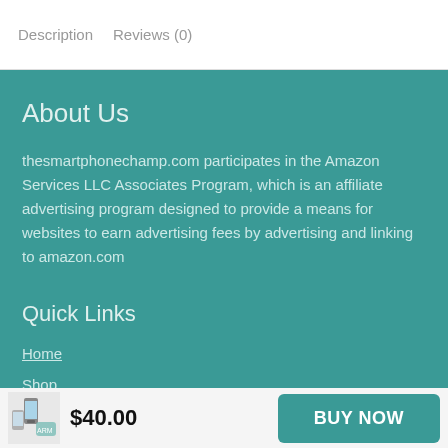Description   Reviews (0)
About Us
thesmartphonechamp.com participates in the Amazon Services LLC Associates Program, which is an affiliate advertising program designed to provide a means for websites to earn advertising fees by advertising and linking to amazon.com
Quick Links
Home
Shop
$40.00
BUY NOW